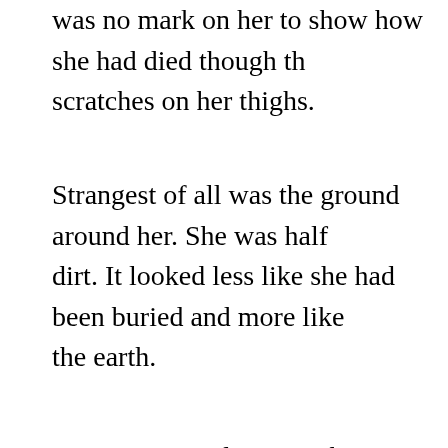was no mark on her to show how she had died though th scratches on her thighs.
Strangest of all was the ground around her. She was half dirt. It looked less like she had been buried and more like the earth.
My eyes were drawn to the sapling. It was the youngest p garden. It stood a foot high and leaves had begun to bud same shade of blue as the woman's tattoos.
I was intrigued. Had the woman's corpse fertilized the gro the plants? That wasn't how normal botany works but we garden.
It was something to think about. I thought about it as I pu nearby bush and began to eat. The nuts tasted like mari